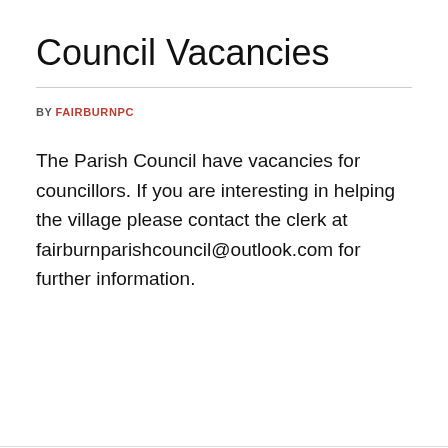Council Vacancies
BY FAIRBURNPC
The Parish Council have vacancies for councillors. If you are interesting in helping the village please contact the clerk at fairburnparishcouncil@outlook.com for further information.